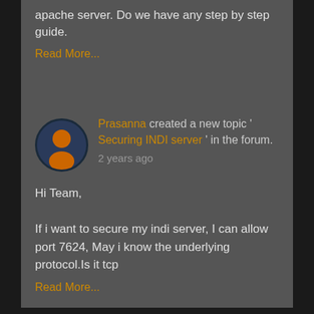apache server. Do we have any step by step guide.
Read More...
Prasanna created a new topic 'Securing INDI server' in the forum. 2 years ago
Hi Team,

If i want to secure my indi server, I can allow port 7624, May i know the underlying protocol.Is it tcp
Read More...